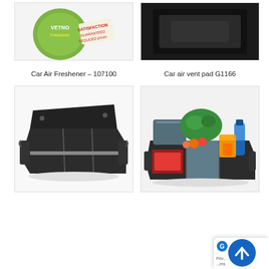[Figure (photo): Car Air Freshener product photo - partially cropped at top, showing green circular freshener with branding text on white/light background]
[Figure (photo): Car air vent pad G1166 product photo - partially cropped at top, dark/black background]
Car Air Freshener – 107100
Car air vent pad G1166
[Figure (photo): Black fabric car trunk organizer/cargo box with multiple compartments and grey trim, shown on white background]
[Figure (photo): Black fabric car trunk organizer filled with groceries including vegetables, bottles and packaged goods, with cooler section]
[Figure (other): Privacy & Terms scroll-up button overlay with blue circular arrow-up icon and privacy icon]